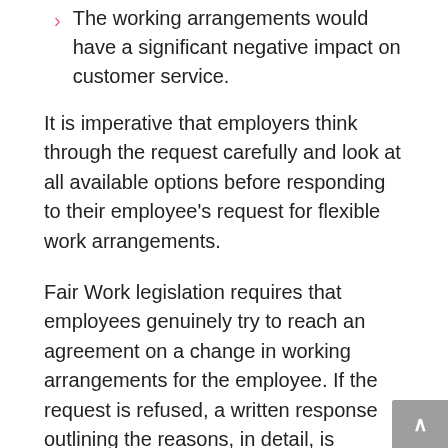The working arrangements would have a significant negative impact on customer service.
It is imperative that employers think through the request carefully and look at all available options before responding to their employee's request for flexible work arrangements.
Fair Work legislation requires that employees genuinely try to reach an agreement on a change in working arrangements for the employee. If the request is refused, a written response outlining the reasons, in detail, is required.
The Benefits Of A Flexible Work